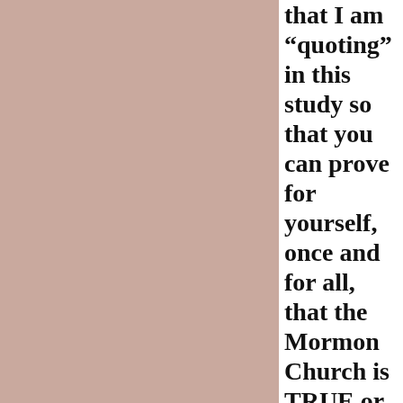that I am “quoting” in this study so that you can prove for yourself, once and for all, that the Mormon Church is TRUE or IF it is FALSE.